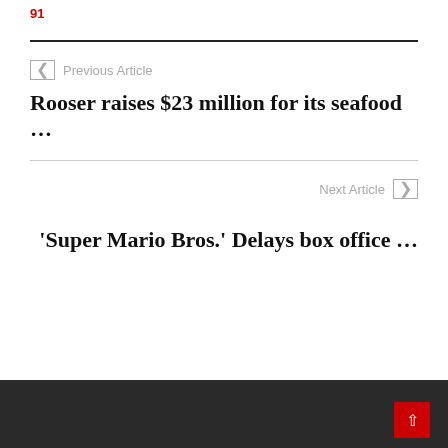91
Previous Article
Rooser raises $23 million for its seafood …
Next Article
'Super Mario Bros.' Delays box office …